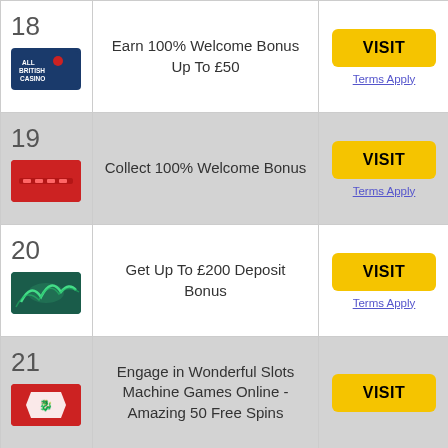| # | Offer | Action |
| --- | --- | --- |
| 18 - All British Casino | Earn 100% Welcome Bonus Up To £50 | VISIT / Terms Apply |
| 19 | Collect 100% Welcome Bonus | VISIT / Terms Apply |
| 20 | Get Up To £200 Deposit Bonus | VISIT / Terms Apply |
| 21 | Engage in Wonderful Slots Machine Games Online - Amazing 50 Free Spins | VISIT |